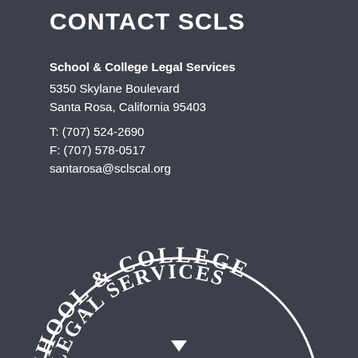CONTACT SCLS
School & College Legal Services
5350 Skylane Boulevard
Santa Rosa, California 95403
T: (707) 524-2690
F: (707) 578-0517
santarosa@sclscal.org
[Figure (logo): School & College Legal Services circular logo with text arched around the top reading SCHOOL & COLLEGE LEGAL SERVICES, shown partially at the bottom of the page]